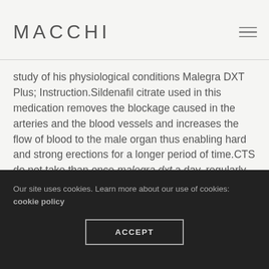MACCHI
study of his physiological conditions Malegra DXT Plus; Instruction.Sildenafil citrate used in this medication removes the blockage caused in the arteries and the blood vessels and increases the flow of blood to the male organ thus enabling hard and strong erections for a longer period of time.CTS do not take than once malegra dxt a day, regularly Purchase Malegra Dxt 130 Mg.
Our site uses cookies. Learn more about our use of cookies: cookie policy
ACCEPT